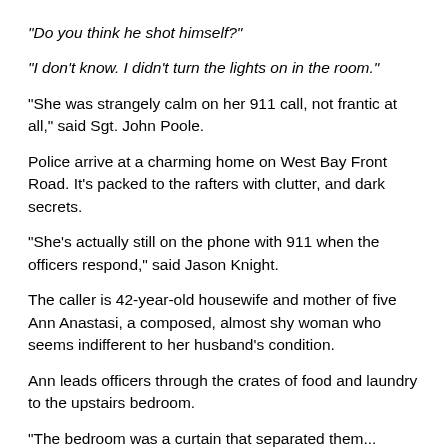"Do you think he shot himself?"
"I don't know. I didn't turn the lights on in the room."
"She was strangely calm on her 911 call, not frantic at all," said Sgt. John Poole.
Police arrive at a charming home on West Bay Front Road. It's packed to the rafters with clutter, and dark secrets.
"She's actually still on the phone with 911 when the officers respond," said Jason Knight.
The caller is 42-year-old housewife and mother of five Ann Anastasi, a composed, almost shy woman who seems indifferent to her husband's condition.
Ann leads officers through the crates of food and laundry to the upstairs bedroom.
"The bedroom was a curtain that separated them...